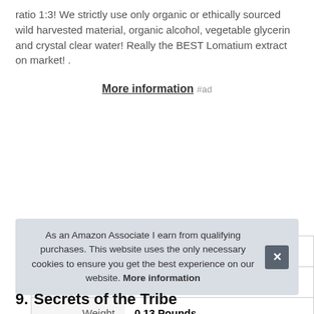ratio 1:3! We strictly use only organic or ethically sourced wild harvested material, organic alcohol, vegetable glycerin and crystal clear water! Really the BEST Lomatium extract on market! .
More information #ad
| Brand | HawaiiPharm #ad |
| Manufacturer | HawaiiPharm #ad |
| Weight | 0.13 Pounds |
As an Amazon Associate I earn from qualifying purchases. This website uses the only necessary cookies to ensure you get the best experience on our website. More information
9. Secrets of the Tribe